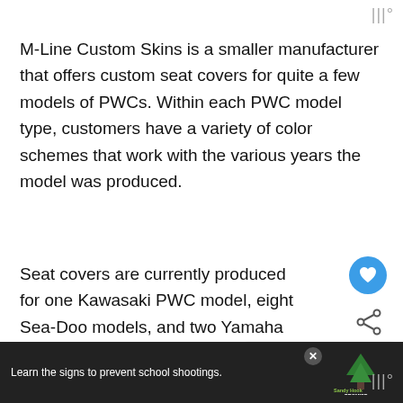|||°
M-Line Custom Skins is a smaller manufacturer that offers custom seat covers for quite a few models of PWCs. Within each PWC model type, customers have a variety of color schemes that work with the various years the model was produced.
Seat covers are currently produced for one Kawasaki PWC model, eight Sea-Doo models, and two Yamaha models. These include the Ultra seat cover, the Yamaha GPR, and the Yamaha GP (source)
[Figure (other): Blue circular heart/favorite button and share icon overlay on the right side of the page]
[Figure (other): What's Next thumbnail widget showing a jet ski image with text 'Can a jet ski or PWC Pull ...']
[Figure (other): Advertisement banner at bottom: 'Learn the signs to prevent school shootings.' with Sandy Hook Promise logo and tree graphic]
|||°